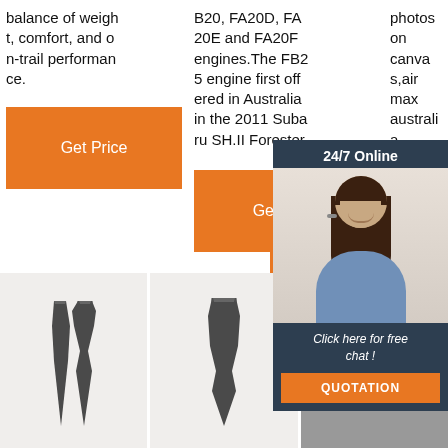balance of weight, comfort, and on-trail performance.
B20, FA20D, FA20E and FA20F engines.The FB25 engine first offered in Australia in the 2011 Subaru SH.II Forester.
photos on canvas,air max australia embassy usa united
[Figure (photo): Chat widget with woman wearing headset, 24/7 Online label, Click here for free chat text, and QUOTATION button]
[Figure (photo): Two metal spike/tooth tools on light background]
[Figure (photo): Metal spike/tooth tool on light background]
[Figure (photo): Dark metal rock/tool piece with orange TOP label and dots on gray background]